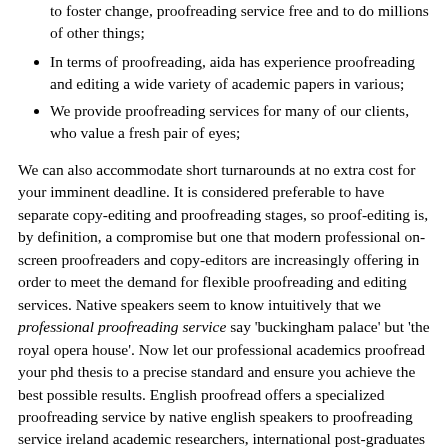to foster change, proofreading service free and to do millions of other things;
In terms of proofreading, aida has experience proofreading and editing a wide variety of academic papers in various;
We provide proofreading services for many of our clients, who value a fresh pair of eyes;
We can also accommodate short turnarounds at no extra cost for your imminent deadline. It is considered preferable to have separate copy-editing and proofreading stages, so proof-editing is, by definition, a compromise but one that modern professional on-screen proofreaders and copy-editors are increasingly offering in order to meet the demand for flexible proofreading and editing services. Native speakers seem to know intuitively that we professional proofreading service say 'buckingham palace' but 'the royal opera house'. Now let our professional academics proofread your phd thesis to a precise standard and ensure you achieve the best possible results. English proofread offers a specialized proofreading service by native english speakers to proofreading service ireland academic researchers, international post-graduates and business people who wish to ensure their written work reaches the high standard of english required by universities and journals, the publishing sector and the business community. Looking for professional academic proofreading service. The high professional approach to writing assignments services; the readiness to work on the proofreading professional proofreading service assignments;